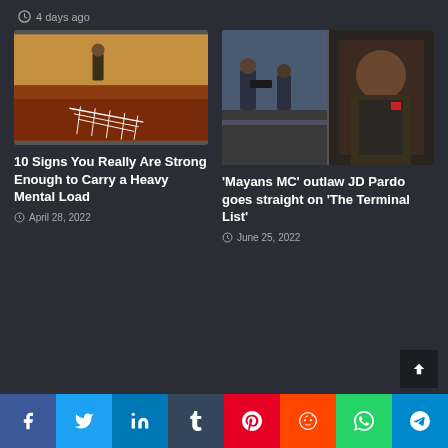4 days ago
[Figure (photo): Article thumbnail: painting of a figure standing on a ladder-like pattern on a reddish-brown ground]
10 Signs You Really Are Strong Enough to Carry a Heavy Mental Load
April 28, 2022
[Figure (photo): Two side-by-side stills: left shows police/action scene outdoors; right shows a man with stubble in a vest (JD Pardo)]
'Mayans MC' outlaw JD Pardo goes straight on 'The Terminal List'
June 25, 2022